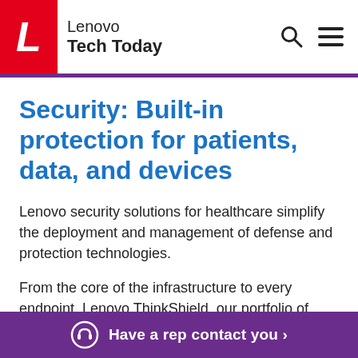Lenovo Tech Today
Security: Built-in protection for patients, data, and devices
Lenovo security solutions for healthcare simplify the deployment and management of defense and protection technologies.
From the core of the infrastructure to every endpoint. Lenovo ThinkShield, our portfolio of…
Have a rep contact you >